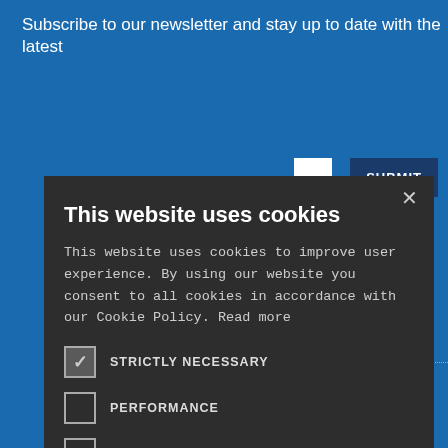Subscribe to our newsletter and stay up to date with the latest
[Figure (screenshot): Cookie consent modal dialog with dark background. Title: 'This website uses cookies'. Body text explains cookie usage. Five checkboxes: STRICTLY NECESSARY (checked), PERFORMANCE, TARGETING, FUNCTIONALITY, UNCLASSIFIED. Two buttons: ACCEPT ALL (green) and DECLINE ALL (outlined). SHOW DETAILS at bottom with gear icon. Close X button in top right. Background shows blue webpage with SUBMIT button.]
This website uses cookies
This website uses cookies to improve user experience. By using our website you consent to all cookies in accordance with our Cookie Policy. Read more
STRICTLY NECESSARY
PERFORMANCE
TARGETING
FUNCTIONALITY
UNCLASSIFIED
ACCEPT ALL
DECLINE ALL
SHOW DETAILS